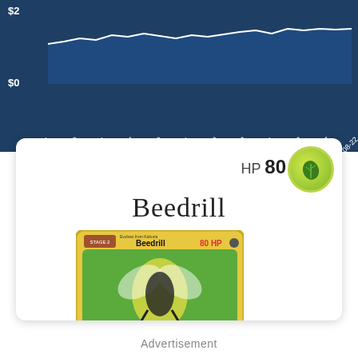[Figure (continuous-plot): Line chart showing price over time from 2020-10-01 to 2022-08-22, with y-axis labels $0 and $2, showing a white line on dark blue background with shaded area below.]
HP 80
Beedrill
[Figure (photo): Pokemon trading card for Beedrill, Stage 2 card, 80 HP, with green background showing Beedrill illustration]
Advertisement